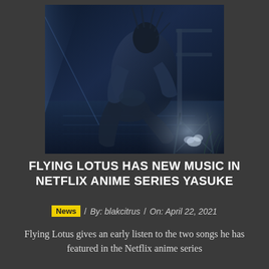[Figure (photo): A person with dreadlocks sitting on a chair in a dark, blue-toned cinematic setting with a white flower visible in the lower right]
FLYING LOTUS HAS NEW MUSIC IN NETFLIX ANIME SERIES YASUKE
News / By: blakcitrus / On: April 22, 2021
Flying Lotus gives an early listen to the two songs he has featured in the Netflix anime series